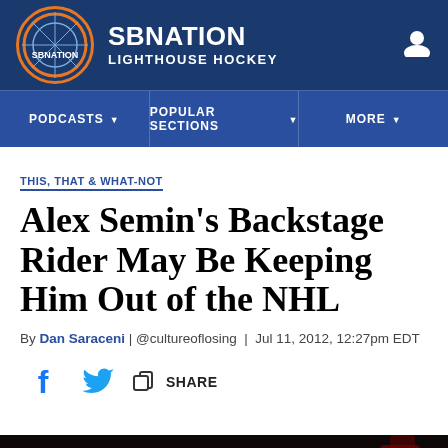SB NATION — LIGHTHOUSE HOCKEY
THIS, THAT & WHAT-NOT
Alex Semin's Backstage Rider May Be Keeping Him Out of the NHL
By Dan Saraceni | @cultureoflosing | Jul 11, 2012, 12:27pm EDT
[Figure (screenshot): Social share bar with Facebook, Twitter, and generic share icons, plus SHARE label]
[Figure (photo): Bottom strip showing a hockey photo with crowd in background]